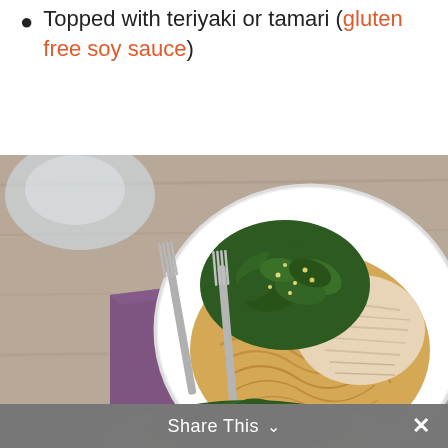Topped with teriyaki or tamari (gluten free soy sauce)
[Figure (photo): Overhead view of a white bowl filled with noodles, shredded chicken, and sautéed greens topped with sesame seeds, placed on a purple cloth napkin with two forks beside it. A second partial bowl is visible at the bottom. A gray 'Share This' bar with a chevron and X button overlays the bottom of the image.]